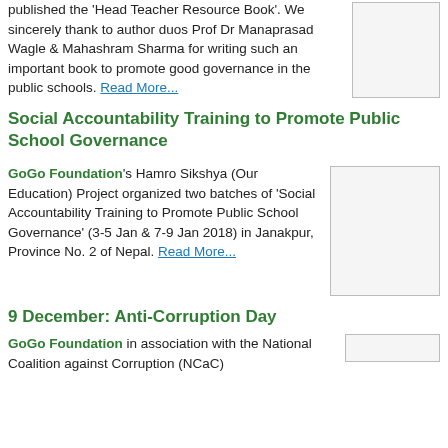published the 'Head Teacher Resource Book'. We sincerely thank to author duos Prof Dr Manaprasad Wagle & Mahashram Sharma for writing such an important book to promote good governance in the public schools. Read More...
[Figure (photo): Image placeholder (broken image icon) for Head Teacher Resource Book]
Social Accountability Training to Promote Public School Governance
GoGo Foundation's Hamro Sikshya (Our Education) Project organized two batches of 'Social Accountability Training to Promote Public School Governance' (3-5 Jan & 7-9 Jan 2018) in Janakpur, Province No. 2 of Nepal. Read More...
[Figure (photo): Image placeholder (broken image icon) for Social Accountability Training event]
9 December: Anti-Corruption Day
GoGo Foundation in association with the National Coalition against Corruption (NCaC)
[Figure (photo): Image placeholder (broken image icon) for Anti-Corruption Day event]